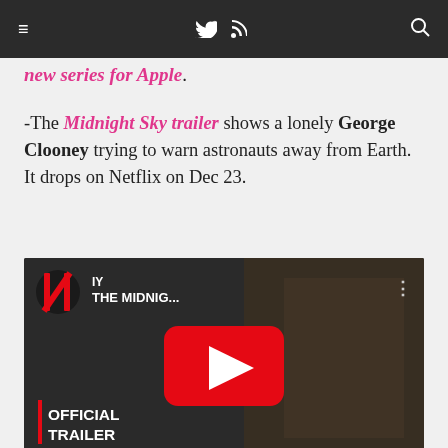≡  🐦  )))  🔍
new series for Apple.
-The Midnight Sky trailer shows a lonely George Clooney trying to warn astronauts away from Earth. It drops on Netflix on Dec 23.
[Figure (screenshot): YouTube video thumbnail for The Midnight Sky Official Trailer on Netflix, showing a bearded man in winter gear with Netflix logo and YouTube play button]
Share this: Twitter  Facebook  Pinterest  Reddit  Email  StumbleUpon